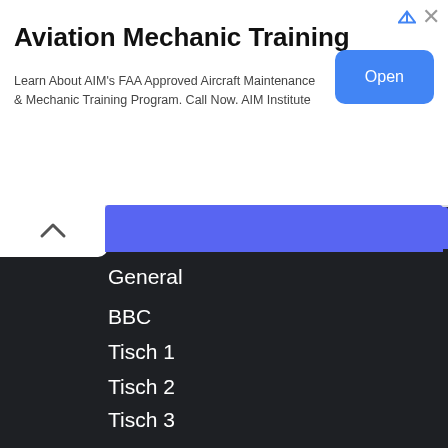[Figure (screenshot): Advertisement banner for Aviation Mechanic Training by AIM Institute with an Open button]
Aviation Mechanic Training
Learn About AIM's FAA Approved Aircraft Maintenance & Mechanic Training Program. Call Now. AIM Institute
General
BBC
Tisch 1
Tisch 2
Tisch 3
MEMBERS ONLINE
`SuP    foobar2000
A_Drunk_Uncle
aaryan
adeadwombat    BlueStacks
Bilfro
Diastrill    Cookie Clicker